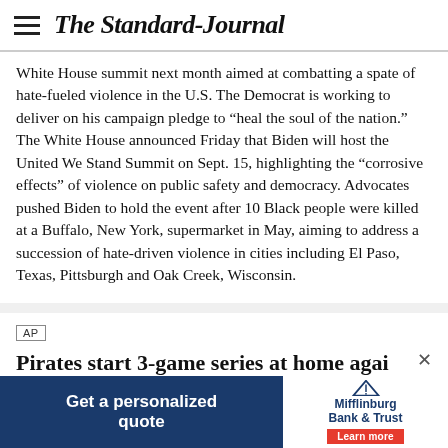The Standard-Journal
White House summit next month aimed at combatting a spate of hate-fueled violence in the U.S. The Democrat is working to deliver on his campaign pledge to “heal the soul of the nation.” The White House announced Friday that Biden will host the United We Stand Summit on Sept. 15, highlighting the “corrosive effects” of violence on public safety and democracy. Advocates pushed Biden to hold the event after 10 Black people were killed at a Buffalo, New York, supermarket in May, aiming to address a succession of hate-driven violence in cities including El Paso, Texas, Pittsburgh and Oak Creek, Wisconsin.
AP
Pirates start 3-game series at home again the Re...
By Th...
[Figure (infographic): Advertisement banner for Mifflinburg Bank & Trust with text 'Get a personalized quote' and 'Learn more' button]